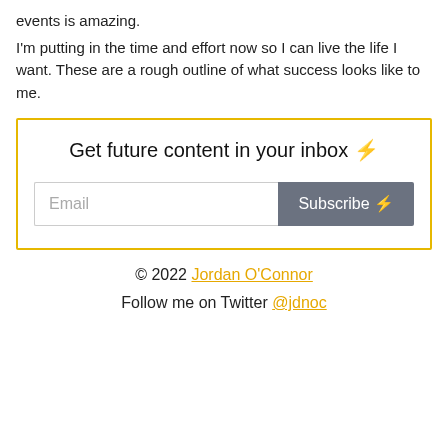events is amazing.

I'm putting in the time and effort now so I can live the life I want. These are a rough outline of what success looks like to me.
Get future content in your inbox ⚡
Email [input field] Subscribe ⚡ [button]
© 2022 Jordan O'Connor
Follow me on Twitter @jdnoc